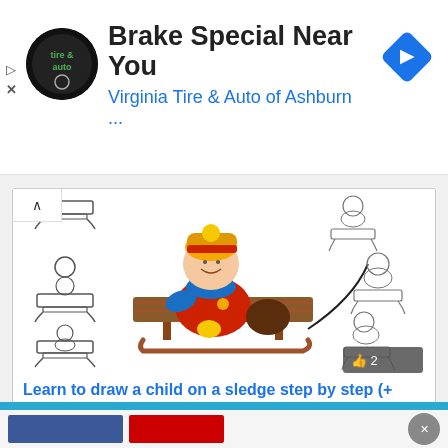[Figure (screenshot): Advertisement banner for Virginia Tire & Auto of Ashburn with logo, title 'Brake Special Near You', subtitle 'Virginia Tire & Auto of Ashburn ...', and blue navigation diamond icon]
[Figure (illustration): Step-by-step drawing tutorial showing a child on a sled with coloring. Center shows colored cartoon child in red coat, yellow hat, blue scarf sitting on a brown wooden sled. Left side shows outline drawing steps. Right side shows additional step figures. Like badge showing thumbs up and '2'.]
Learn to draw a child on a sledge step by step (+ coloring)
[Figure (screenshot): Bottom navigation bar with blue background and social/share buttons (blue Facebook-style button, red YouTube-style button, grey circle button)]